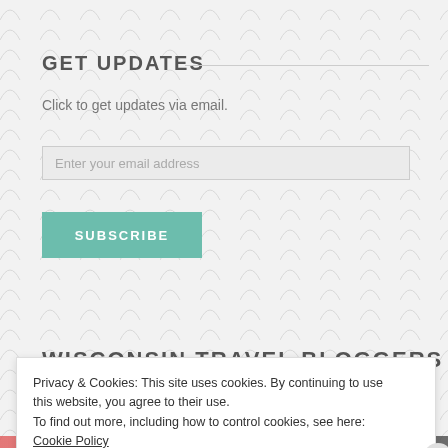GET UPDATES
Click to get updates via email.
Enter your email address
SUBSCRIBE
WISCONSIN TRAVEL BLOGGERS
Privacy & Cookies: This site uses cookies. By continuing to use this website, you agree to their use.
To find out more, including how to control cookies, see here: Cookie Policy
Close and accept